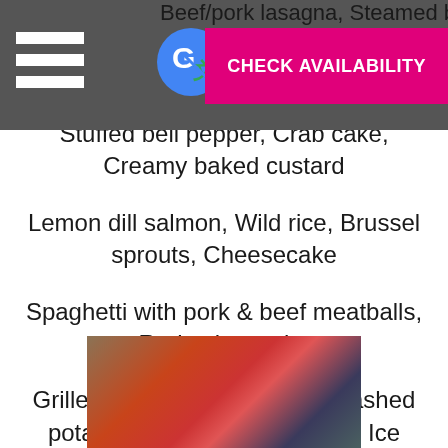Beef/pork lasagna, Steamed bok choy, Key
Stuffed bell pepper, Crab cake, Creamy baked custard
Lemon dill salmon, Wild rice, Brussel sprouts, Cheesecake
Spaghetti with pork & beef meatballs, Red velvet cake
Grilled pork chops, Creamy mashed potato, Sautéed string beans, Ice cream
Citrus seared scallops, Celti rice, Sautéed asparagus, Cherry crostata
[Figure (photo): Photo of food including what appears to be strawberries and other colorful food items on a plate]